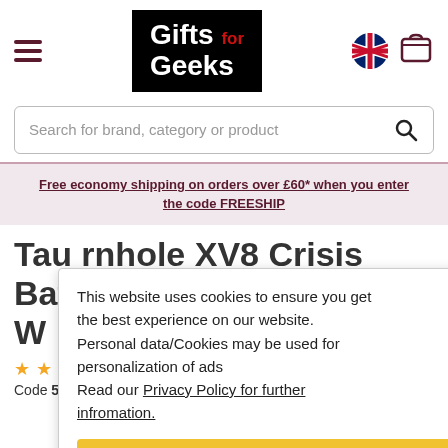[Figure (logo): Gifts for Geeks logo — white text on black background with 'for' in red]
Search for brand, category or product
Free economy shipping on orders over £60* when you enter the code FREESHIP
This website uses cookies to ensure you get the best experience on our website. Personal data/Cookies may be used for personalization of ads
Read our Privacy Policy for further infromation.
I accept
Tau rnhole XV8 Crisis Battleuits by Games W
0 reviews
Code 5011921064953